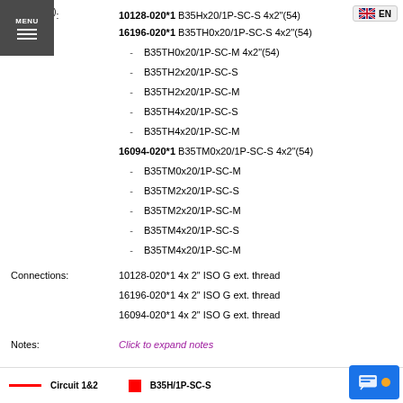Item No. 2): 10128-020*1 B35Hx20/1P-SC-S 4x2"(54)
16196-020*1 B35TH0x20/1P-SC-S 4x2"(54)
- B35TH0x20/1P-SC-M 4x2"(54)
- B35TH2x20/1P-SC-S
- B35TH2x20/1P-SC-M
- B35TH4x20/1P-SC-S
- B35TH4x20/1P-SC-M
16094-020*1 B35TM0x20/1P-SC-S 4x2"(54)
- B35TM0x20/1P-SC-M
- B35TM2x20/1P-SC-S
- B35TM2x20/1P-SC-M
- B35TM4x20/1P-SC-S
- B35TM4x20/1P-SC-M
Connections: 10128-020*1 4x 2" ISO G ext. thread | 16196-020*1 4x 2" ISO G ext. thread | 16094-020*1 4x 2" ISO G ext. thread
Notes: Click to expand notes
Circuit 1&2   B35H/1P-SC-S